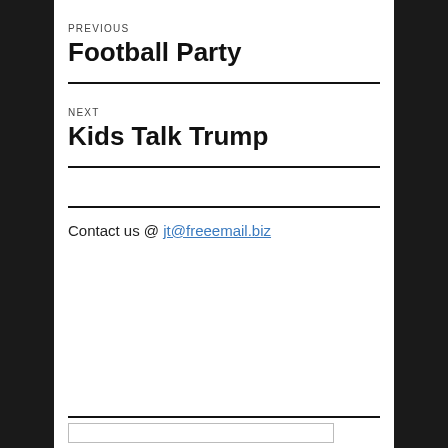PREVIOUS
Football Party
NEXT
Kids Talk Trump
Contact us @ jt@freeemail.biz